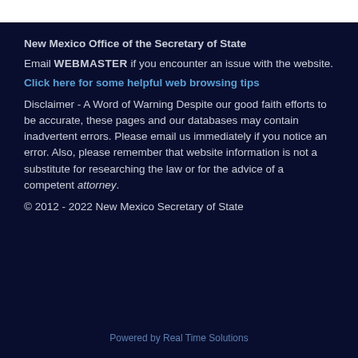New Mexico Office of the Secretary of State
Email WEBMASTER if you encounter an issue with the website.
Click here for some helpful web browsing tips
Disclaimer - A Word of Warning Despite our good faith efforts to be accurate, these pages and our databases may contain inadvertent errors. Please email us immediately if you notice an error. Also, please remember that website information is not a substitute for researching the law or for the advice of a competent attorney.
© 2012 - 2022 New Mexico Secretary of State
Powered by Real Time Solutions